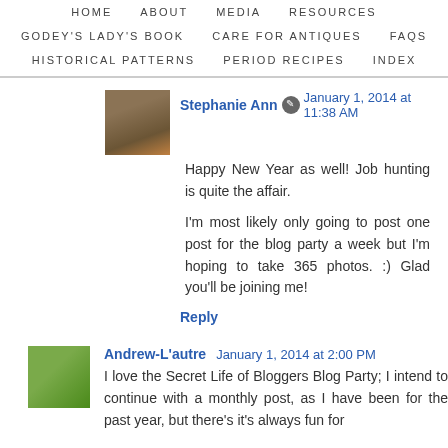HOME   ABOUT   MEDIA   RESOURCES   GODEY'S LADY'S BOOK   CARE FOR ANTIQUES   FAQS   HISTORICAL PATTERNS   PERIOD RECIPES   INDEX
Stephanie Ann  January 1, 2014 at 11:38 AM
Happy New Year as well! Job hunting is quite the affair.

I'm most likely only going to post one post for the blog party a week but I'm hoping to take 365 photos. :) Glad you'll be joining me!
Reply
Andrew-L'autre  January 1, 2014 at 2:00 PM
I love the Secret Life of Bloggers Blog Party; I intend to continue with a monthly post, as I have been for the past year, but there's it's always fun for...